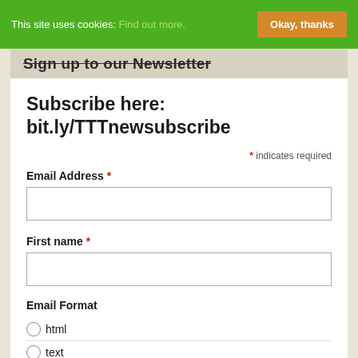This site uses cookies: Find out more.  Okay, thanks
Sign up to our Newsletter
Subscribe here: bit.ly/TTTnewsubscribe
* indicates required
Email Address *
First name *
Email Format
html
text